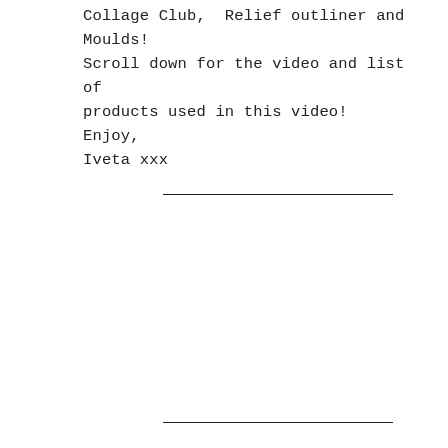Collage Club,  Relief outliner and Moulds! Scroll down for the video and list of products used in this video! Enjoy, Iveta xxx